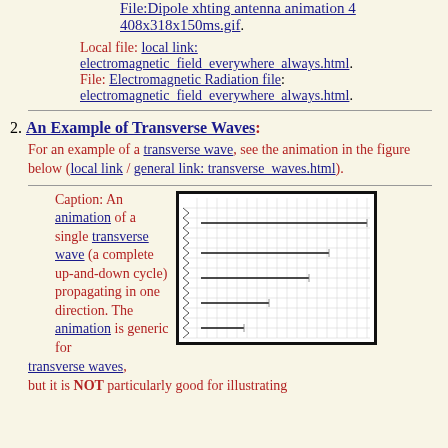File:Dipole xhting antenna animation 4 408x318x150ms.gif.
Local file: local link: electromagnetic_field_everywhere_always.html. File: Electromagnetic Radiation file: electromagnetic_field_everywhere_always.html.
2. An Example of Transverse Waves:
For an example of a transverse wave, see the animation in the figure below (local link / general link: transverse_waves.html).
Caption: An animation of a single transverse wave (a complete up-and-down cycle) propagating in one direction. The animation is generic for transverse waves, but it is NOT particularly good for illustrating
[Figure (illustration): Animation frame of a single transverse wave showing a wave propagating horizontally with a grid background and horizontal lines representing wave displacement at different phases.]